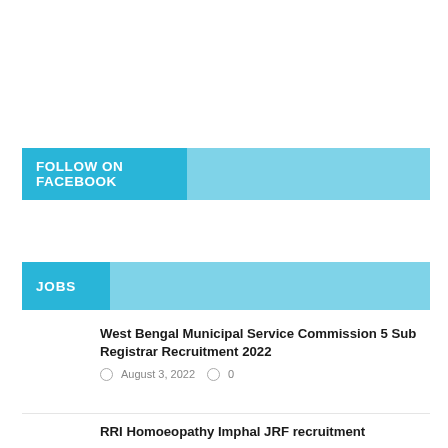FOLLOW ON FACEBOOK
JOBS
West Bengal Municipal Service Commission 5 Sub Registrar Recruitment 2022
August 3, 2022   0
RRI Homoeopathy Imphal JRF recruitment
August 3, 2022   0